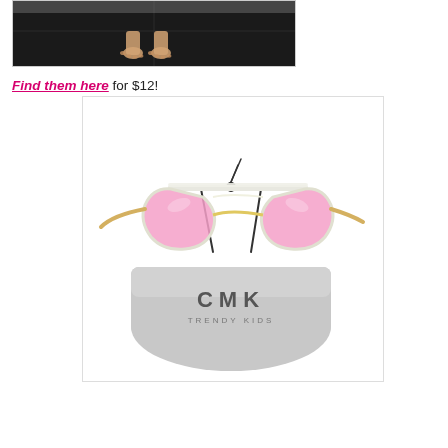[Figure (photo): Child's bare feet standing on dark tile floor, partial view of legs and feet from above]
Find them here for $12!
[Figure (photo): Pink aviator sunglasses with gold frames resting on a gray CMK Trendy Kids drawstring pouch/bag]